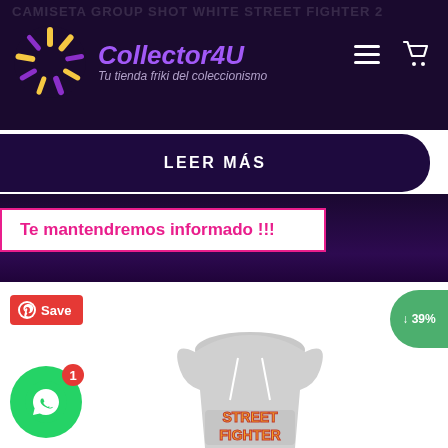CAMISETA GROUP SHOT WHITE STREET FIGHTER 2
[Figure (logo): Collector4U logo with sunburst graphic and text 'Tu tienda friki del coleccionismo']
LEER MÁS
Te mantendremos informado !!!
[Figure (photo): Gray Street Fighter hoodie with orange Street Fighter logo print, shown from the front]
↓ 39%
Save